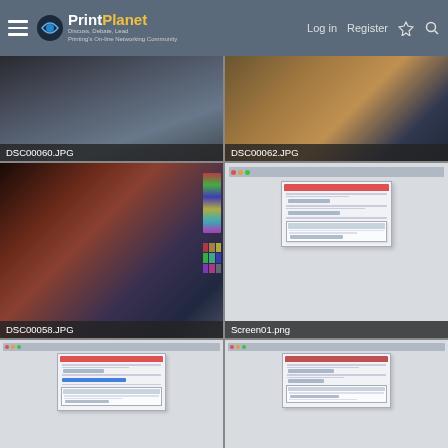PrintPlanet — Discuss, Debate, Lead. Printing's On-line Networking Community. Log in | Register
[Figure (photo): Thumbnail photo labeled DSC00060.JPG — dark outdoor scene]
[Figure (photo): Thumbnail photo labeled DSC00062.JPG — printed photos/cards on surface]
[Figure (photo): Thumbnail photo labeled DSC00058.JPG — collage of printed photo sheets with woman portrait]
[Figure (screenshot): Screenshot labeled Screen01.png — software dialog window on light background]
[Figure (screenshot): Partially visible screenshot — software dialog with blue progress bar]
[Figure (screenshot): Partially visible screenshot — software dialog window]